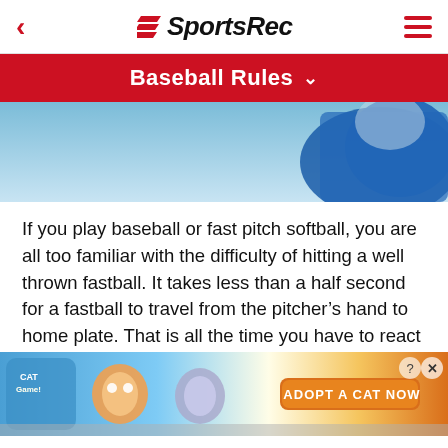SportsRec
Baseball Rules
[Figure (photo): Partial photo of baseball player in blue uniform against light blue sky background]
If you play baseball or fast pitch softball, you are all too familiar with the difficulty of hitting a well thrown fastball. It takes less than a half second for a fastball to travel from the pitcher's hand to home plate. That is all the time you have to react to the pitch. The average person's reaction time is around 0.75 seconds. This means [ad overlay] her release [ad overlay] ually been thrown.
[Figure (photo): Advertisement banner: Cat Game - Adopt A Cat Now promotional ad with cartoon cats]